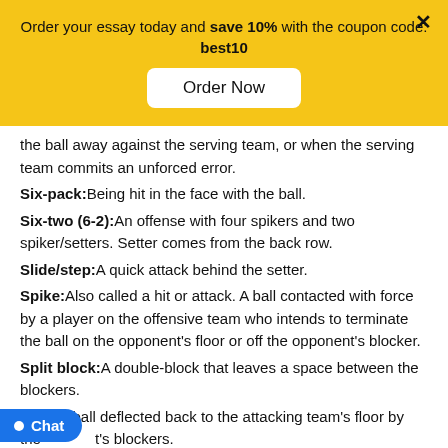Order your essay today and save 10% with the coupon code: best10
Order Now
the ball away against the serving team, or when the serving team commits an unforced error.
Six-pack: Being hit in the face with the ball.
Six-two (6-2): An offense with four spikers and two spiker/setters. Setter comes from the back row.
Slide/step: A quick attack behind the setter.
Spike: Also called a hit or attack. A ball contacted with force by a player on the offensive team who intends to terminate the ball on the opponent's floor or off the opponent's blocker.
Split block: A double-block that leaves a space between the blockers.
Stuff: A ball deflected back to the attacking team's floor by the opponent's blockers.
Substitution: Allows one player to replace another player
Chat